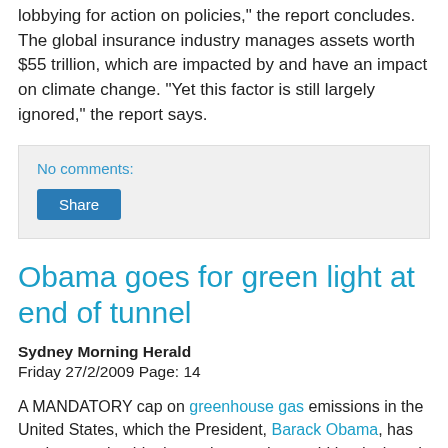lobbying for action on policies," the report concludes. The global insurance industry manages assets worth $55 trillion, which are impacted by and have an impact on climate change. "Yet this factor is still largely ignored," the report says.
No comments:
Share
Obama goes for green light at end of tunnel
Sydney Morning Herald
Friday 27/2/2009 Page: 14
A MANDATORY cap on greenhouse gas emissions in the United States, which the President, Barack Obama, has made central to his domestic agenda, would be designed to generate revenue for the Government while addressing